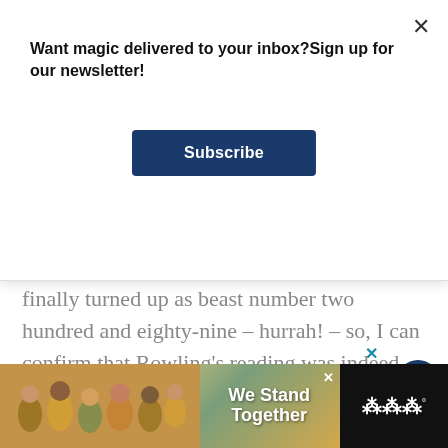Want magic delivered to your inbox?Sign up for our newsletter!
Subscribe
finally turned up as beast number two hundred and eighty-nine – hurrah! – so, I can confirm that Rowling's reading was indeed no cursory flick-through. This is the description from Richard E. Strassberg's translation (the version Rowling has been studying):
[Figure (infographic): Bottom advertisement banner showing 'We Stand Together' with group photo and logo]
5